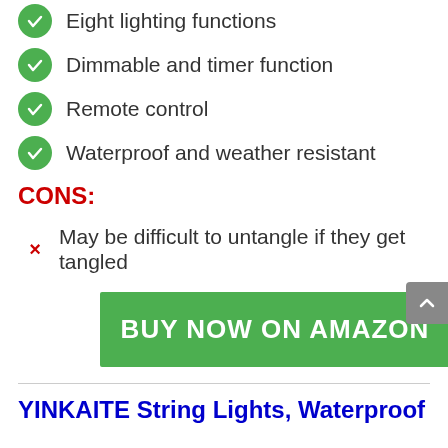Eight lighting functions
Dimmable and timer function
Remote control
Waterproof and weather resistant
CONS:
May be difficult to untangle if they get tangled
BUY NOW ON AMAZON
YINKAITE String Lights, Waterproof